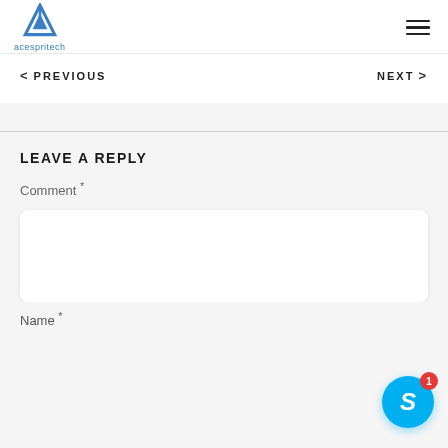acespritech
< PREVIOUS   NEXT >
LEAVE A REPLY
Comment *
Name *